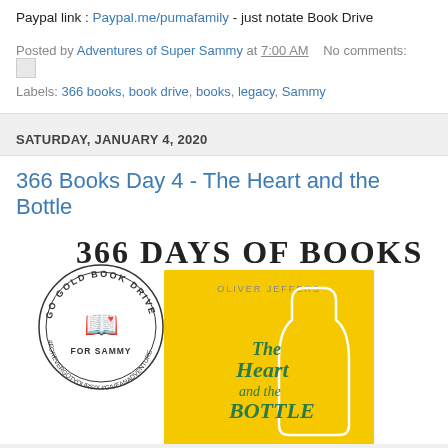Paypal link : Paypal.me/pumafamily - just notate Book Drive
Posted by Adventures of Super Sammy at 7:00 AM   No comments:
Labels: 366 books, book drive, books, legacy, Sammy
SATURDAY, JANUARY 4, 2020
366 Books Day 4 - The Heart and the Bottle
[Figure (illustration): 366 Days of Books banner text above a yellow book cover for 'The Heart and the Bottle' by Oliver Jeffers, overlaid with a circular Go Gold Book Drive For Sammy stamp logo]